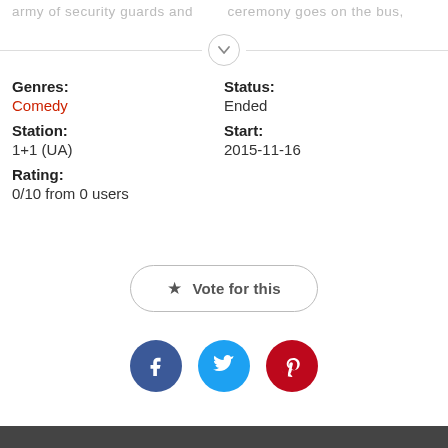army of security guards and ceremony goes on the bus,
Genres: Comedy
Station: 1+1 (UA)
Rating: 0/10 from 0 users
Status: Ended
Start: 2015-11-16
Vote for this
[Figure (other): Social sharing buttons: Facebook (blue circle), Twitter (light blue circle), Pinterest (red circle)]